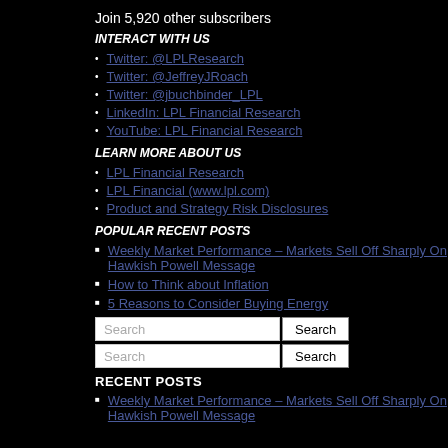Join 5,920 other subscribers
INTERACT WITH US
Twitter: @LPLResearch
Twitter: @JeffreyJRoach
Twitter: @jbuchbinder_LPL
LinkedIn: LPL Financial Research
YouTube: LPL Financial Research
LEARN MORE ABOUT US
LPL Financial Research
LPL Financial (www.lpl.com)
Product and Strategy Risk Disclosures
POPULAR RECENT POSTS
Weekly Market Performance – Markets Sell Off Sharply On Hawkish Powell Message
How to Think about Inflation
5 Reasons to Consider Buying Energy
Search [input] Search [button]
Search [input] Search [button]
RECENT POSTS
Weekly Market Performance – Markets Sell Off Sharply On Hawkish Powell Message